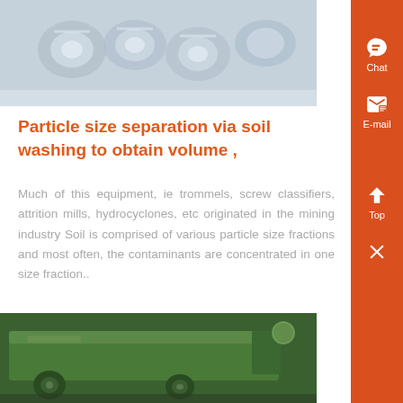[Figure (photo): Photo of mechanical bolts/fittings, metallic parts on a light surface]
Particle size separation via soil washing to obtain volume ,
Much of this equipment, ie trommels, screw classifiers, attrition mills, hydrocyclones, etc originated in the mining industry Soil is comprised of various particle size fractions and most often, the contaminants are concentrated in one size fraction..
Know More
[Figure (photo): Photo of a green industrial soil washing or conveyor machine outdoors]